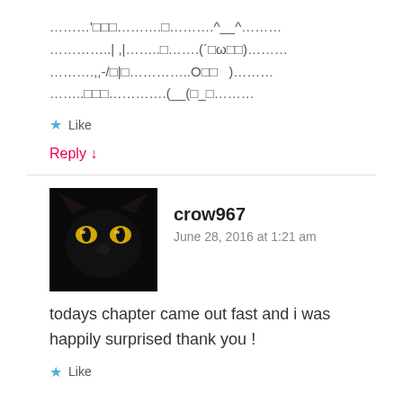………'□□□……….□……….^__^………
…………..| ,|……..□…….(´□ω□□)………
……….,,-/□|□…………..O□□   )………
……..□□□………….(__(□_□………
Like
Reply ↓
crow967
June 28, 2016 at 1:21 am
todays chapter came out fast and i was happily surprised thank you !
Like